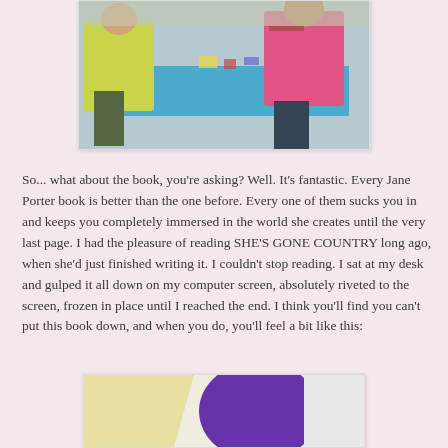[Figure (photo): Photo of people around a blue table in a room, one person wearing a yellow-green top and another in a pink top.]
So... what about the book, you're asking?  Well.  It's fantastic.  Every Jane Porter book is better than the one before.  Every one of them sucks you in and keeps you completely immersed in the world she creates until the very last page.  I had the pleasure of reading SHE'S GONE COUNTRY long ago, when she'd just finished writing it.  I couldn't stop reading.  I sat at my desk and gulped it all down on my computer screen, absolutely riveted to the screen, frozen in place until I reached the end.  I think you'll find you can't put this book down, and when you do, you'll feel a bit like this:
[Figure (photo): Partially visible photo at the bottom of the page showing colorful shapes including purple and yellow/cream tones.]